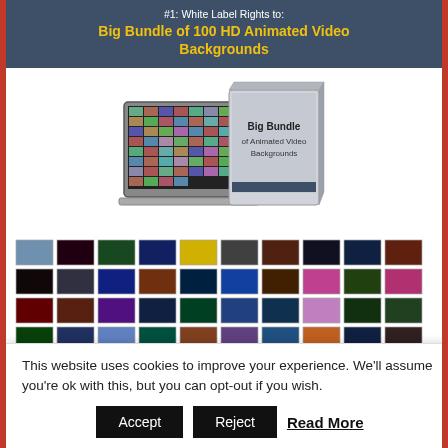#1: White Label Rights to: Big Bundle of 100 HD Animated Video Backgrounds
[Figure (illustration): Product box image showing 'Big Bundle of Animated Video Backgrounds' with a laptop/tablet displaying video thumbnails and a box cover]
[Figure (illustration): Grid of 50 video background thumbnails in 5 rows of 10, showing various animated video background previews]
This website uses cookies to improve your experience. We'll assume you're ok with this, but you can opt-out if you wish.
Accept  Reject  Read More